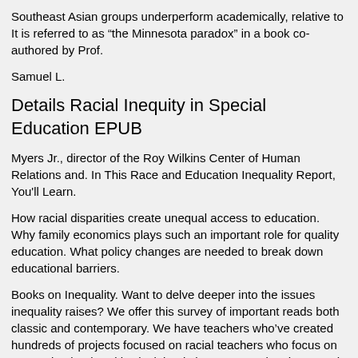Southeast Asian groups underperform academically, relative to It is referred to as “the Minnesota paradox” in a book co-authored by Prof.
Samuel L.
Details Racial Inequity in Special Education EPUB
Myers Jr., director of the Roy Wilkins Center of Human Relations and. In This Race and Education Inequality Report, You'll Learn.
How racial disparities create unequal access to education. Why family economics plays such an important role for quality education. What policy changes are needed to break down educational barriers.
Books on Inequality. Want to delve deeper into the issues inequality raises? We offer this survey of important reads both classic and contemporary. We have teachers who’ve created hundreds of projects focused on racial teachers who focus on requesting books with Black lead characters and authors, such as The Hate U Give by Angie Thomas; Brown Girl Dreaming by Jacqueline Woodson; The Stars Beneath Our Feet by David Barclay Moore; and Ghost Boys by Dr.